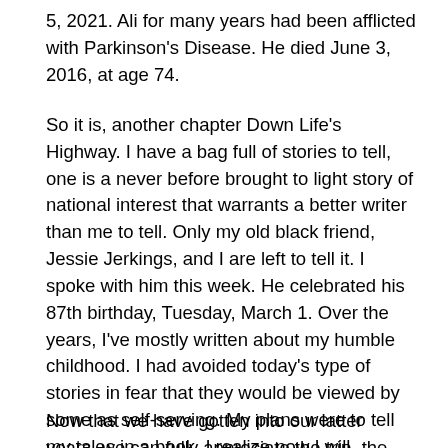5, 2021. Ali for many years had been afflicted with Parkinson's Disease. He died June 3, 2016, at age 74.
So it is, another chapter Down Life's Highway. I have a bag full of stories to tell, one is a never before brought to light story of national interest that warrants a better writer than me to tell. Only my old black friend, Jessie Jerkings, and I are left to tell it. I spoke with him this week. He celebrated his 87th birthday, Tuesday, March 1. Over the years, I've mostly written about my humble childhood. I had avoided today's type of stories in fear that they would be viewed by some as self-serving. My plans were to tell my tales in a book. I realize now I will probably never write it so I've taken the privilege of going this column route. I've lived a very charmed life and I'm proud of the fact that I've spent most of it with one wife. I've taken her for quite a ride, way more than she bargained for.
Now that we have gotten into our latter years, we can fully appreciate the trip, the people we've met and the